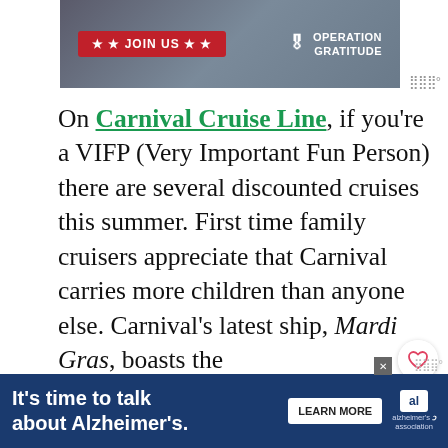[Figure (photo): Top banner ad for Operation Gratitude with a red 'JOIN US' button and military figures in the background]
On Carnival Cruise Line, if you're a VIFP (Very Important Fun Person) there are several discounted cruises this summer. First time family cruisers appreciate that Carnival carries more children than anyone else. Carnival's latest ship, Mardi Gras, boasts the first roller coasters at sea and also runs on LPG, making is more sustainable. Kids love the casual food options ranging from and pizza to the very popular and co... chicken J...
[Figure (screenshot): Bottom advertisement for Alzheimer's awareness with text 'It's time to talk about Alzheimer's.' and a Learn More button]
[Figure (infographic): What's Next overlay with thumbnail of Bahamas cruise and text 'Cruise to the Bahamas -...']